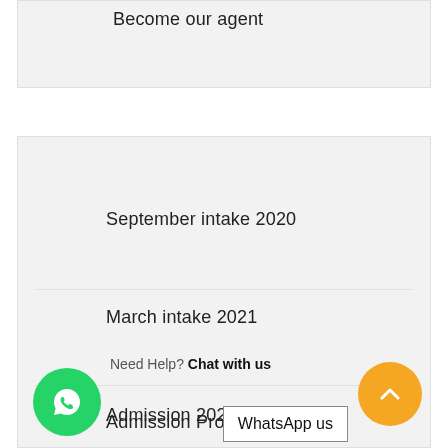Become our agent
September intake 2020
March intake 2021
Admission 2020
Need Help? Chat with us
WhatsApp us
Admission Promo
[Figure (logo): WhatsApp green circle button with phone icon]
[Figure (other): Yellow scroll-to-top circle button with upward chevron]